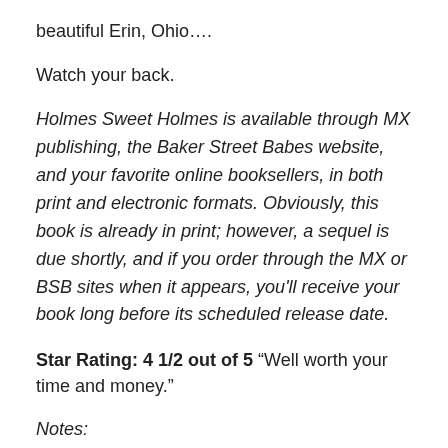beautiful Erin, Ohio….
Watch your back.
Holmes Sweet Holmes is available through MX publishing, the Baker Street Babes website, and your favorite online booksellers, in both print and electronic formats. Obviously, this book is already in print; however, a sequel is due shortly, and if you order through the MX or BSB sites when it appears, you'll receive your book long before its scheduled release date.
Star Rating: 4 1/2 out of 5 “Well worth your time and money.”
Notes:
*Preferably described in PW’s charming terms as “very